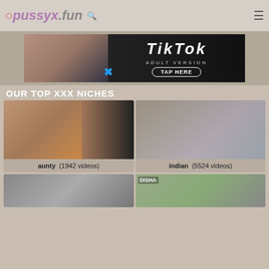pussyx.fun
[Figure (photo): TikTok Adult Version advertisement banner with TAP HERE button]
OUR TOP XXX NICHES
[Figure (photo): Thumbnail image for aunty category]
aunty  (1942 videos)
[Figure (photo): Thumbnail image for indian category]
indian  (5524 videos)
[Figure (photo): Thumbnail image for bottom-left category]
[Figure (photo): Thumbnail image for bottom-right category (DISHA)]